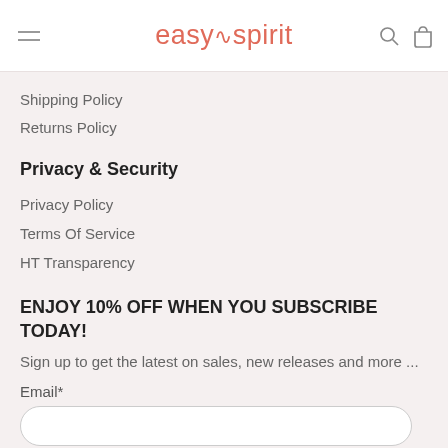easy spirit
Shipping Policy
Returns Policy
Privacy & Security
Privacy Policy
Terms Of Service
HT Transparency
ENJOY 10% OFF WHEN YOU SUBSCRIBE TODAY!
Sign up to get the latest on sales, new releases and more ...
Email*